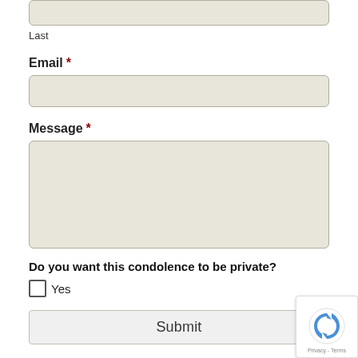[Figure (screenshot): Form input field (text box) partially visible at top of page, for Last name entry]
Last
Email *
[Figure (screenshot): Form input field (text box) for Email entry]
Message *
[Figure (screenshot): Form textarea (large text box) for Message entry]
Do you want this condolence to be private?
Yes
Submit
[Figure (logo): reCAPTCHA badge with Privacy - Terms text]